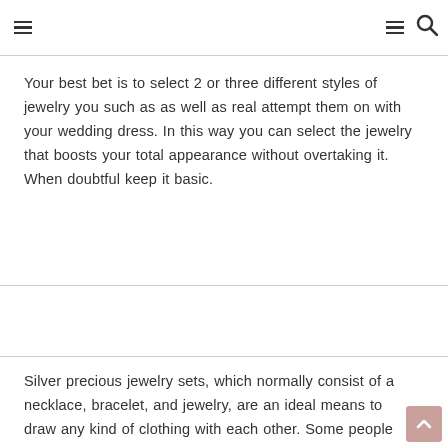☰  ☰ 🔍
Your best bet is to select 2 or three different styles of jewelry you such as as well as real attempt them on with your wedding dress. In this way you can select the jewelry that boosts your total appearance without overtaking it. When doubtful keep it basic.
Silver precious jewelry sets, which normally consist of a necklace, bracelet, and jewelry, are an ideal means to draw any kind of clothing with each other. Some people